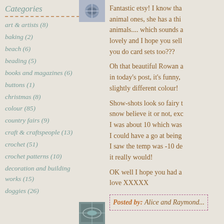Categories
art & artists (8)
baking (2)
beach (6)
beading (5)
books and magazines (6)
buttons (1)
christmas (8)
colour (85)
country fairs (9)
craft & craftspeople (13)
crochet (51)
crochet patterns (10)
decoration and building works (15)
doggies (26)
[Figure (photo): Small thumbnail image top right]
Fantastic etsy! I know tha... animal ones, she has a thi... animals.... which sounds a... lovely and I hope you sell... you do card sets too???
Oh that beautiful Rowan a... in today's post, it's funny,... slightly different colour!
Show-shots look so fairy t... snow believe it or not, exc... I was about 10 which was... I could have a go at being... I saw the temp was -10 de... it really would!
OK well I hope you had a... love XXXXX
Posted by: Alice and Raymond...
[Figure (photo): Small thumbnail image bottom right]